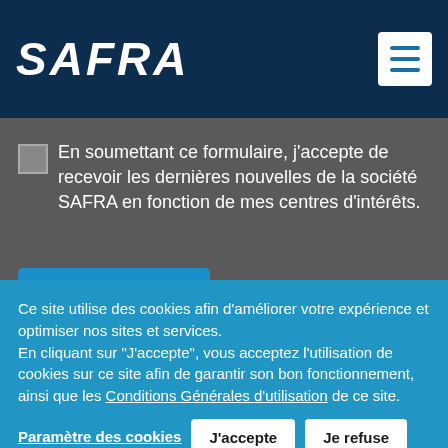[Figure (logo): SAFRA company logo in white italic bold text on dark navy background]
En soumettant ce formulaire, j'accepte de recevoir les dernières nouvelles de la société SAFRA en fonction de mes centres d'intérêts.
S'INSCRIRE
Ce site utilise des cookies afin d'améliorer votre expérience et optimiser nos sites et services.
En cliquant sur "J'accepte", vous acceptez l'utilisation de cookies sur ce site afin de garantir son bon fonctionnement, ainsi que les Conditions Générales d'utilisation de ce site.
Paramètre des cookies
J'accepte
Je refuse